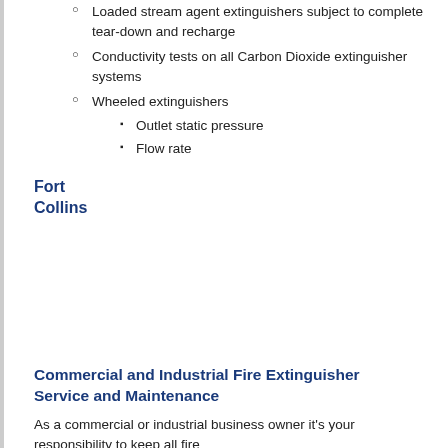Loaded stream agent extinguishers subject to complete tear-down and recharge
Conductivity tests on all Carbon Dioxide extinguisher systems
Wheeled extinguishers
Outlet static pressure
Flow rate
Fort Collins
Commercial and Industrial Fire Extinguisher Service and Maintenance
As a commercial or industrial business owner it's your responsibility to keep all fire extinguishers properly serviced and maintained